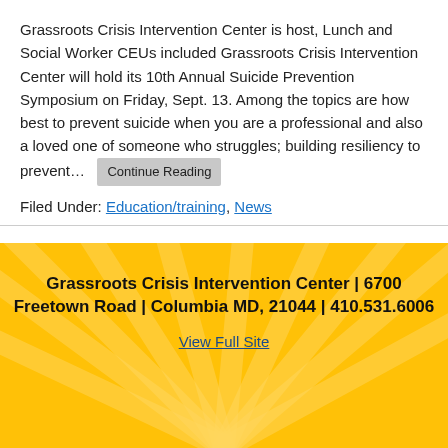Grassroots Crisis Intervention Center is host, Lunch and Social Worker CEUs included Grassroots Crisis Intervention Center will hold its 10th Annual Suicide Prevention Symposium on Friday, Sept. 13. Among the topics are how best to prevent suicide when you are a professional and also a loved one of someone who struggles; building resiliency to prevent… Continue Reading
Filed Under: Education/training, News
Grassroots Crisis Intervention Center | 6700 Freetown Road | Columbia MD, 21044 | 410.531.6006
View Full Site